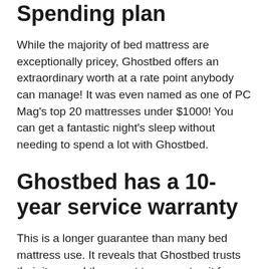Spending plan
While the majority of bed mattress are exceptionally pricey, Ghostbed offers an extraordinary worth at a rate point anybody can manage! It was even named as one of PC Mag's top 20 mattresses under $1000! You can get a fantastic night's sleep without needing to spend a lot with Ghostbed.
Ghostbed has a 10-year service warranty
This is a longer guarantee than many bed mattress use. It reveals that Ghostbed trusts their item and they want to guarantee it for a long period of time.